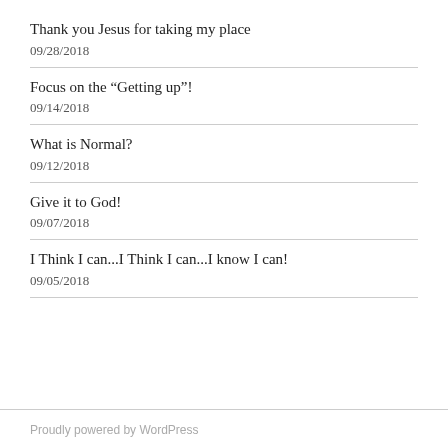Thank you Jesus for taking my place
09/28/2018
Focus on the “Getting up”!
09/14/2018
What is Normal?
09/12/2018
Give it to God!
09/07/2018
I Think I can...I Think I can...I know I can!
09/05/2018
Proudly powered by WordPress